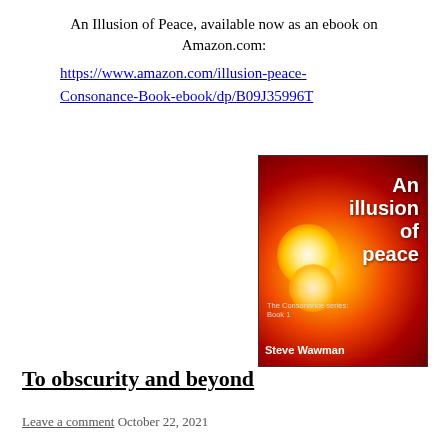An Illusion of Peace, available now as an ebook on Amazon.com:
https://www.amazon.com/illusion-peace-Consonance-Book-ebook/dp/B09J35996T
[Figure (photo): Book cover of 'An illusion of peace' by Steve Wawman, The Consonance series: Book 1. Red and orange background with glowing light effects, white bold text.]
To obscurity and beyond
Leave a comment  October 22, 2021